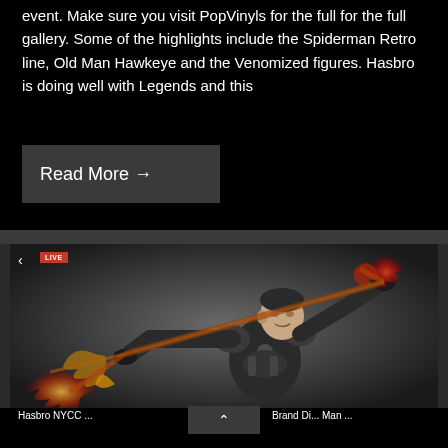event. Make sure you visit PopVinyls for the full for the full gallery. Some of the highlights include the Spiderman Retro line, Old Man Hawkeye and the Venomized figures. Hasbro is doing well with Legends and this
Read More →
[Figure (photo): Action figure of a character in dark armor suit with energy/flame effects on both hands, displayed against a dark background. A red LIVE badge is visible in the top-left corner.]
Hasbro NYCC ...   Brand Di... Man ... s ...